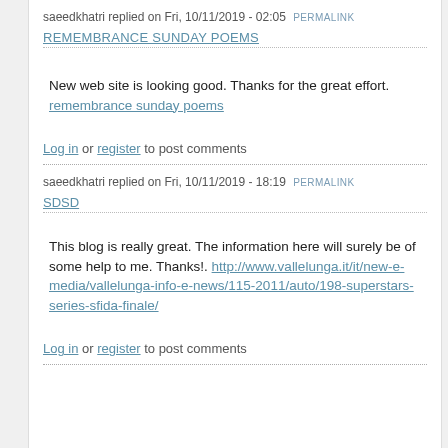saeedkhatri replied on Fri, 10/11/2019 - 02:05 PERMALINK
REMEMBRANCE SUNDAY POEMS
New web site is looking good. Thanks for the great effort. remembrance sunday poems
Log in or register to post comments
saeedkhatri replied on Fri, 10/11/2019 - 18:19 PERMALINK
SDSD
This blog is really great. The information here will surely be of some help to me. Thanks!. http://www.vallelunga.it/it/new-e-media/vallelunga-info-e-news/115-2011/auto/198-superstars-series-sfida-finale/
Log in or register to post comments